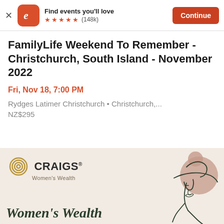[Figure (screenshot): Eventbrite app banner with orange logo, 'Find events you'll love', 5 star rating (148k reviews), and Continue button]
FamilyLife Weekend To Remember - Christchurch, South Island - November 2022
Fri, Nov 18, 7:00 PM
Rydges Latimer Christchurch • Christchurch,...
NZ$295
[Figure (illustration): Craigs Women's Wealth advertisement banner with logo, circular concentric ring icon, and line art illustration of a woman wearing a wide-brim hat. Text: Women's Wealth]